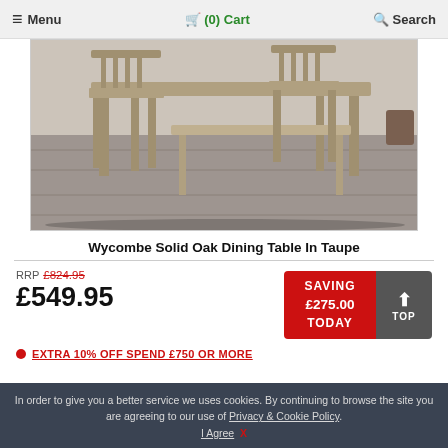Menu  (0) Cart  Search
[Figure (photo): Wycombe solid oak dining table in taupe with chairs and bench on grey floor]
Wycombe Solid Oak Dining Table In Taupe
RRP £824.95
£549.95
SAVING £275.00 TODAY
EXTRA 10% OFF SPEND £750 OR MORE
In order to give you a better service we uses cookies. By continuing to browse the site you are agreeing to our use of Privacy & Cookie Policy. I Agree X